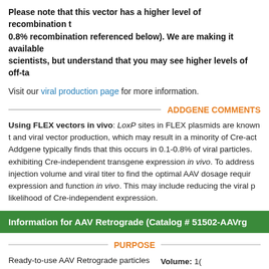Please note that this vector has a higher level of recombination than usual (higher than the 0.8% recombination referenced below). We are making it available to scientists, but understand that you may see higher levels of off-target expression.
Visit our viral production page for more information.
ADDGENE COMMENTS
Using FLEX vectors in vivo: LoxP sites in FLEX plasmids are known to recombine during bacterial and viral vector production, which may result in a minority of Cre-activated particles. Addgene typically finds that this occurs in 0.1-0.8% of viral particles, which can result in cells exhibiting Cre-independent transgene expression in vivo. To address this, we recommend titrating injection volume and viral titer to find the optimal AAV dosage required to achieve transgene expression and function in vivo. This may include reducing the viral particle number to reduce likelihood of Cre-independent expression.
Information for AAV Retrograde (Catalog # 51502-AAVrg)
PURPOSE
Ready-to-use AAV Retrograde particles produced from AAV pCAG-FLEX-EGFP-WPRE (#51502). In addition to the viral particles, you will also receive purified AAV pCAG-FLEX-EGFP-WPRE plasmid
Volume: 100µL
Titer: ≥ 7×10¹²
Pricing: $330 + $30 USD